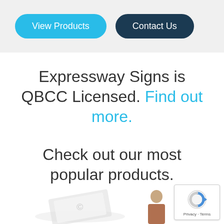View Products | Contact Us
Expressway Signs is QBCC Licensed. Find out more.
Check out our most popular products.
[Figure (screenshot): reCAPTCHA privacy badge in bottom right corner with logo and Privacy - Terms text]
[Figure (photo): Product sign item partially visible at bottom left]
[Figure (photo): Person (woman) partially visible at bottom right]